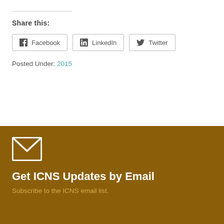Share this:
Facebook LinkedIn Twitter
Posted Under: 2015
[Figure (illustration): White envelope/mail icon on brown background]
Get ICNS Updates by Email
Subscribe to the ICNS email list.